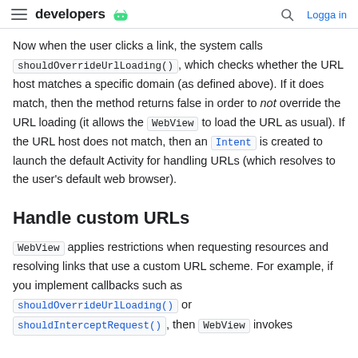developers | Logga in
Now when the user clicks a link, the system calls shouldOverrideUrlLoading(), which checks whether the URL host matches a specific domain (as defined above). If it does match, then the method returns false in order to not override the URL loading (it allows the WebView to load the URL as usual). If the URL host does not match, then an Intent is created to launch the default Activity for handling URLs (which resolves to the user's default web browser).
Handle custom URLs
WebView applies restrictions when requesting resources and resolving links that use a custom URL scheme. For example, if you implement callbacks such as shouldOverrideUrlLoading() or shouldInterceptRequest(), then WebView invokes